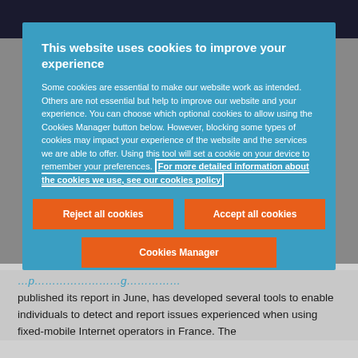This website uses cookies to improve your experience
Some cookies are essential to make our website work as intended. Others are not essential but help to improve our website and your experience. You can choose which optional cookies to allow using the Cookies Manager button below. However, blocking some types of cookies may impact your experience of the website and the services we are able to offer. Using this tool will set a cookie on your device to remember your preferences. For more detailed information about the cookies we use, see our cookies policy
Reject all cookies
Accept all cookies
Cookies Manager
published its report in June, has developed several tools to enable individuals to detect and report issues experienced when using fixed-mobile Internet operators in France. The